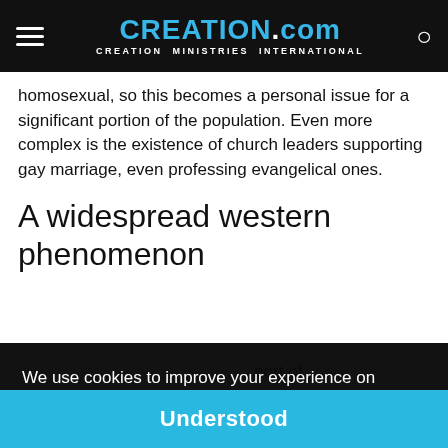CREATION.com — CREATION MINISTRIES INTERNATIONAL
homosexual, so this becomes a personal issue for a significant portion of the population. Even more complex is the existence of church leaders supporting gay marriage, even professing evangelical ones.
A widespread western phenomenon
We use cookies to improve your experience on creation.com and related sites.
Privacy Policy
port of
08
election, Obama claimed to oppose gay marriage; this
Understood